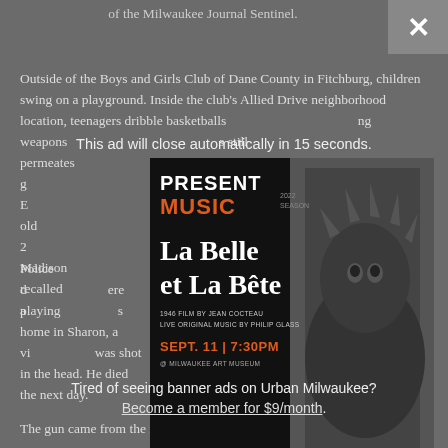of the Milwaukee Journal Sentinel.
Outside of the Boys and Girls Club of Dane County in Fitchburg, children swing on a playground. Inside the club's Allied Drive neighborhood location, teenagers dribble basketballs... carrying weapons... still permeates... they had to grow up... former E... an 11-year-old... on July 9, 2... from Madison... recalled... the trigger a...
[Figure (advertisement): Present Music 2022 Season advertisement for 'La Belle et La Bête', 1946 film by Jean Cocteau with live original music by Philip Glass. Sept. 11 at 7:30PM at Milwaukee Art Museum. Tickets Start at $15. Get Yours HERE! With UBAF logo.]
This ad will close automatically in 15 seconds.
Tired of seeing banner ads on Urban Milwaukee? Become a member for $9/month.
Police d... were playing... 's home in Sharon, a vi... was shot in the head. He died the next day.
The gun came from the friend's father, who kept about 20...